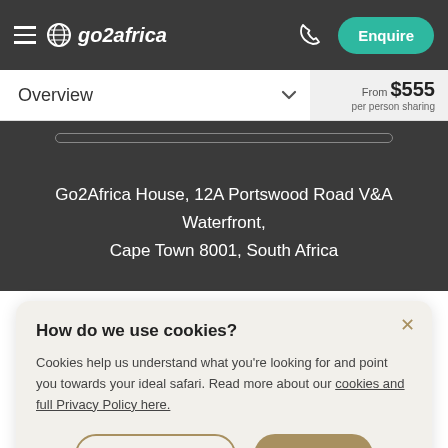go2africa — Enquire
Overview — From $555 per person sharing
Go2Africa House, 12A Portswood Road V&A Waterfront, Cape Town 8001, South Africa
How do we use cookies?
Cookies help us understand what you're looking for and point you towards your ideal safari. Read more about our cookies and full Privacy Policy here.